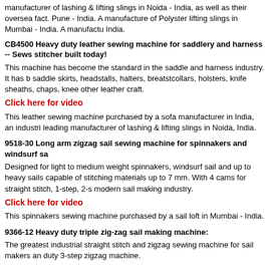manufacturer of lashing & lifting slings in Noida - India, as well as their oversea fact. Pune - India. A manufacture of Polyster lifting slings in Mumbai - India. A manufactu India.
CB4500 Heavy duty leather sewing machine for saddlery and harness -- Sews stitcher built today!
This machine has become the standard in the saddle and harness industry. It has b saddle skirts, headstalls, halters, breatstcollars, holsters, knife sheaths, chaps, knee other leather craft.
Click here for video
This leather sewing machine purchased by a sofa manufacturer in India, an industri leading manufacturer of lashing & lifting slings in Noida, India.
9518-30 Long arm zigzag sail sewing machine for spinnakers and windsurf sa
Designed for light to medium weight spinnakers, windsurf sail and up to heavy sails capable of stitching materials up to 7 mm. With 4 cams for straight stitch, 1-step, 2-s modern sail making industry.
Click here for video
This spinnakers sewing machine purchased by a sail loft in Mumbai - India.
9366-12 Heavy duty triple zig-zag sail making machine:
The greatest industrial straight stitch and zigzag sewing machine for sail makers an duty 3-step zigzag machine.